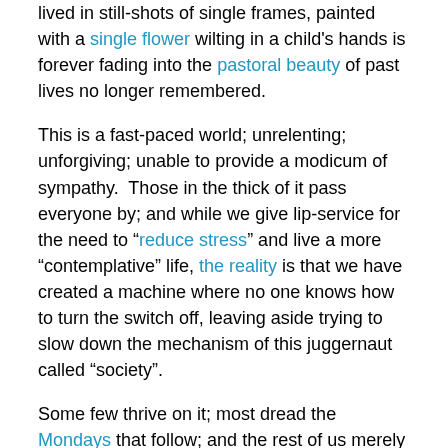lived in still-shots of single frames, painted with a single flower wilting in a child's hands is forever fading into the pastoral beauty of past lives no longer remembered.
This is a fast-paced world; unrelenting; unforgiving; unable to provide a modicum of sympathy.  Those in the thick of it pass everyone by; and while we give lip-service for the need to "reduce stress" and live a more "contemplative" life, the reality is that we have created a machine where no one knows how to turn the switch off, leaving aside trying to slow down the mechanism of this juggernaut called "society".
Some few thrive on it; most dread the Mondays that follow; and the rest of us merely walk through like zombies and the living dead, mindlessly winding our way through this maze called "life".  Some few of us are able to laugh it off; fend against the daily stresses; somehow survive the